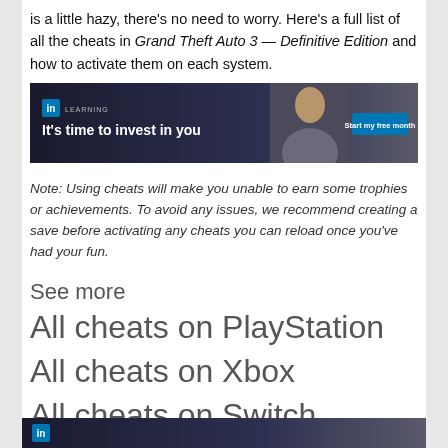is a little hazy, there's no need to worry. Here's a full list of all the cheats in Grand Theft Auto 3 — Definitive Edition and how to activate them on each system.
[Figure (other): LinkedIn Learning advertisement banner: dark background with woman's photo, 'It's time to invest in you' tagline, and 'Start my free month' button]
Note: Using cheats will make you unable to earn some trophies or achievements. To avoid any issues, we recommend creating a save before activating any cheats you can reload once you've had your fun.
See more
All cheats on PlayStation
All cheats on Xbox
All cheats on Switch
All cheats on PC
[Figure (other): LinkedIn Learning advertisement banner (partial, bottom of page): dark background with partial view]